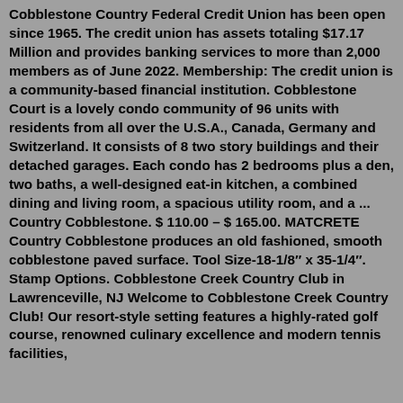Cobblestone Country Federal Credit Union has been open since 1965. The credit union has assets totaling $17.17 Million and provides banking services to more than 2,000 members as of June 2022. Membership: The credit union is a community-based financial institution. Cobblestone Court is a lovely condo community of 96 units with residents from all over the U.S.A., Canada, Germany and Switzerland. It consists of 8 two story buildings and their detached garages. Each condo has 2 bedrooms plus a den, two baths, a well-designed eat-in kitchen, a combined dining and living room, a spacious utility room, and a ... Country Cobblestone. $ 110.00 – $ 165.00. MATCRETE Country Cobblestone produces an old fashioned, smooth cobblestone paved surface. Tool Size-18-1/8″ x 35-1/4″. Stamp Options. Cobblestone Creek Country Club in Lawrenceville, NJ Welcome to Cobblestone Creek Country Club! Our resort-style setting features a highly-rated golf course, renowned culinary excellence and modern tennis facilities,